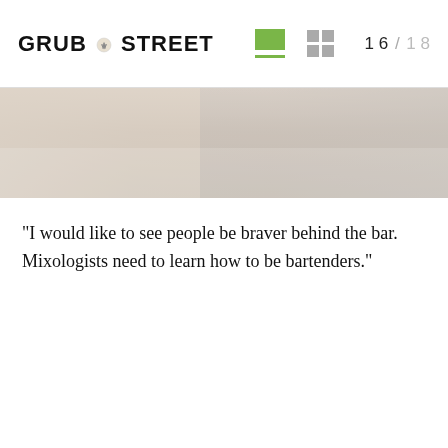GRUB STREET  16 / 18
[Figure (photo): Partial photo visible as a horizontal strip showing blurred background, likely a bar scene]
"I would like to see people be braver behind the bar. Mixologists need to learn how to be bartenders."